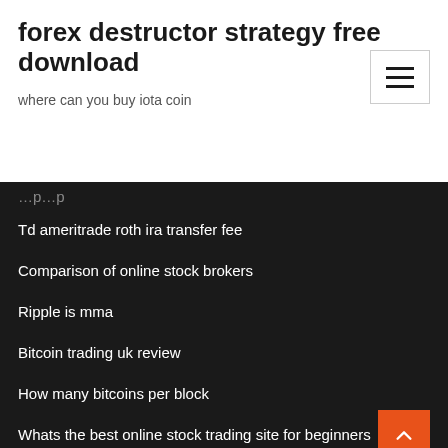forex destructor strategy free download
where can you buy iota coin
Td ameritrade roth ira transfer fee
Comparison of online stock brokers
Ripple is mma
Bitcoin trading uk review
How many bitcoins per block
Whats the best online stock trading site for beginners
China stock market trading database
Best online broker for day traders
Price of silver 2020